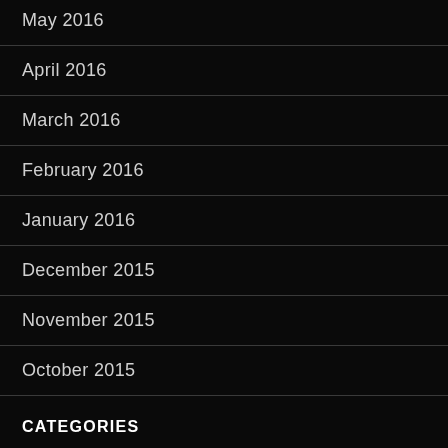May 2016
April 2016
March 2016
February 2016
January 2016
December 2015
November 2015
October 2015
CATEGORIES
Background (943)
Makura kotoba (78)